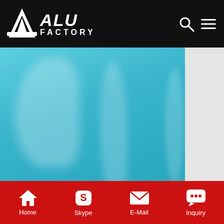ALU FACTORY
[Figure (photo): Stack of blue-film-covered aluminum sheets with silver metallic edges visible, wrapped in brown packaging paper at bottom]
Boat Trailer, Barge from China Manufacturers - QINGDAO
[Figure (photo): Interior of a large industrial factory/warehouse with arched ceiling and structural beams]
Home  Skype  E-Mail  Inquiry